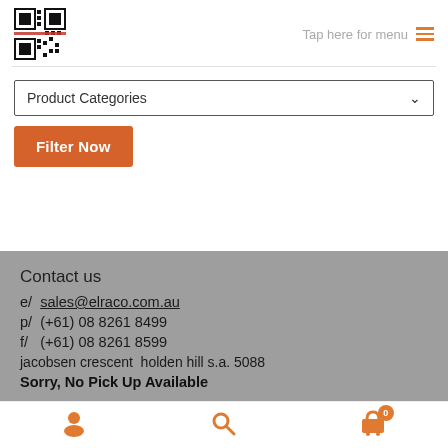[Figure (logo): QR code / logo in top left corner]
Tap here for menu
Product Categories
Filter Now
Contact us
e/  sales@elraco.com.au
p/  (+61) 08 8261 8499
f/   (+61) 08 8261 8599
jacobsen crescent  holden hill s.a. 5088
Sorry, No Pick Up Available